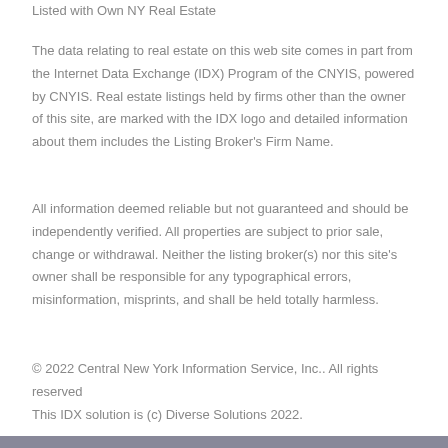Listed with Own NY Real Estate
The data relating to real estate on this web site comes in part from the Internet Data Exchange (IDX) Program of the CNYIS, powered by CNYIS. Real estate listings held by firms other than the owner of this site, are marked with the IDX logo and detailed information about them includes the Listing Broker's Firm Name.
All information deemed reliable but not guaranteed and should be independently verified. All properties are subject to prior sale, change or withdrawal. Neither the listing broker(s) nor this site's owner shall be responsible for any typographical errors, misinformation, misprints, and shall be held totally harmless.
© 2022 Central New York Information Service, Inc.. All rights reserved
This IDX solution is (c) Diverse Solutions 2022.